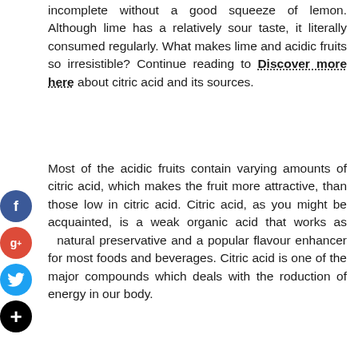incomplete without a good squeeze of lemon. Although lime has a relatively sour taste, it literally consumed regularly. What makes lime and acidic fruits so irresistible? Continue reading to Discover more here about citric acid and its sources.
Most of the acidic fruits contain varying amounts of citric acid, which makes the fruit more attractive, than those low in citric acid. Citric acid, as you might be acquainted, is a weak organic acid that works as natural preservative and a popular flavour enhancer for most foods and beverages. Citric acid is one of the major compounds which deals with the roduction of energy in our body.